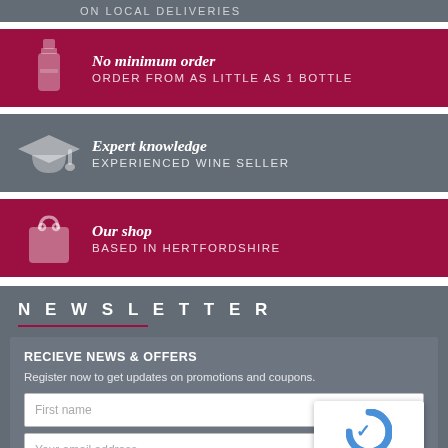ON LOCAL DELIVERIES
[Figure (infographic): Crimson banner with wine bottle icon. Title: No minimum order. Subtitle: ORDER FROM AS LITTLE AS 1 BOTTLE]
[Figure (infographic): Gray banner with graduation cap icon. Title: Expert knowledge. Subtitle: EXPERIENCED WINE SELLER]
[Figure (infographic): Crimson banner with shopping bag icon. Title: Our shop. Subtitle: BASED IN HERTFORDSHIRE]
NEWSLETTER
RECIEVE NEWS & OFFERS
Register now to get updates on promotions and coupons.
First name
Your email address